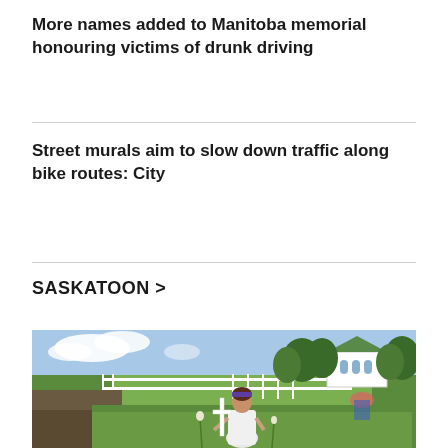More names added to Manitoba memorial honouring victims of drunk driving
Street murals aim to slow down traffic along bike routes: City
SASKATOON >
[Figure (photo): A woman in a white dress and colourful headband holds a white cross at a roadside memorial site with grass, dirt, a white fence, green fields, trees, and a white church building in the background.]